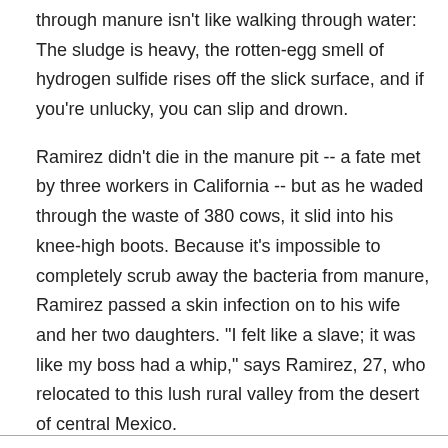through manure isn't like walking through water: The sludge is heavy, the rotten-egg smell of hydrogen sulfide rises off the slick surface, and if you're unlucky, you can slip and drown.
Ramirez didn't die in the manure pit -- a fate met by three workers in California -- but as he waded through the waste of 380 cows, it slid into his knee-high boots. Because it's impossible to completely scrub away the bacteria from manure, Ramirez passed a skin infection on to his wife and her two daughters. "I felt like a slave; it was like my boss had a whip," says Ramirez, 27, who relocated to this lush rural valley from the desert of central Mexico.